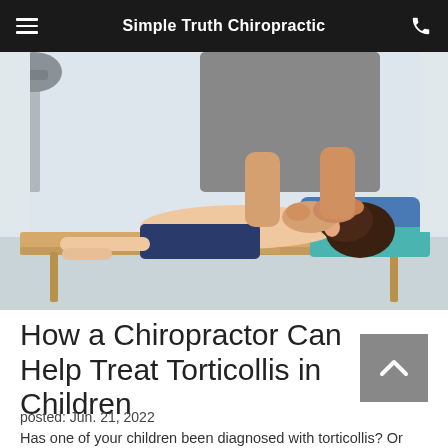Simple Truth Chiropractic
[Figure (photo): A chiropractor treating a child lying face-down on a treatment table, hands placed on the child's upper back/neck area. The child wears dark shorts. A blue pillow and teal towel are visible. Medical equipment in background.]
How a Chiropractor Can Help Treat Torticollis in Children
posted: Jun. 21, 2022
Has one of your children been diagnosed with torticollis? Or